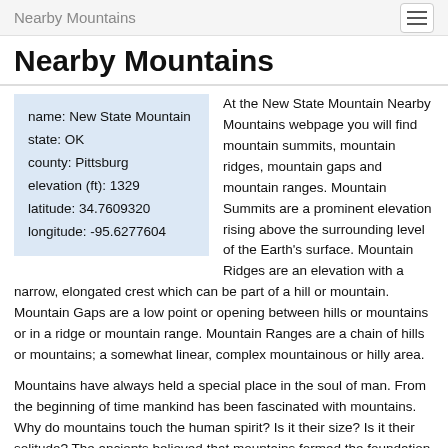Nearby Mountains
Nearby Mountains
name: New State Mountain
state: OK
county: Pittsburg
elevation (ft): 1329
latitude: 34.7609320
longitude: -95.6277604
At the New State Mountain Nearby Mountains webpage you will find mountain summits, mountain ridges, mountain gaps and mountain ranges. Mountain Summits are a prominent elevation rising above the surrounding level of the Earth's surface. Mountain Ridges are an elevation with a narrow, elongated crest which can be part of a hill or mountain. Mountain Gaps are a low point or opening between hills or mountains or in a ridge or mountain range. Mountain Ranges are a chain of hills or mountains; a somewhat linear, complex mountainous or hilly area.
Mountains have always held a special place in the soul of man. From the beginning of time mankind has been fascinated with mountains. Why do mountains touch the human spirit? Is it their size? Is it their solitude? The ancients believed that mountains formed the foundation of the world, that mountains surround the